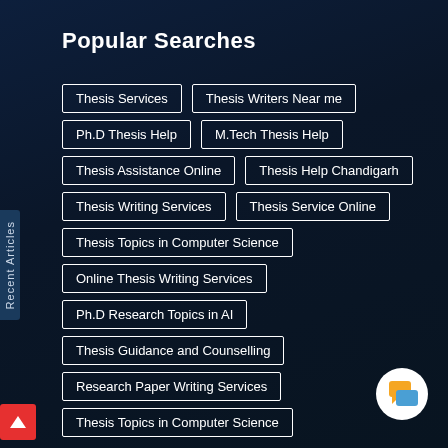Popular Searches
Thesis Services
Thesis Writers Near me
Ph.D Thesis Help
M.Tech Thesis Help
Thesis Assistance Online
Thesis Help Chandigarh
Thesis Writing Services
Thesis Service Online
Thesis Topics in Computer Science
Online Thesis Writing Services
Ph.D Research Topics in AI
Thesis Guidance and Counselling
Research Paper Writing Services
Thesis Topics in Computer Science
Recent Articles